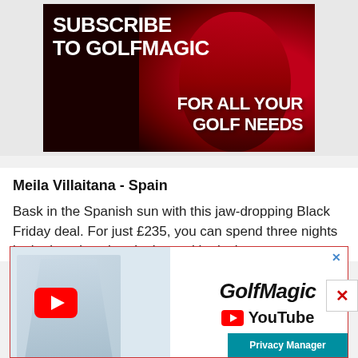[Figure (illustration): GolfMagic subscription banner with text 'Subscribe to GolfMagic For All Your Golf Needs' over a dark red background with a golfer figure]
Meila Villaitana - Spain
Bask in the Spanish sun with this jaw-dropping Black Friday deal. For just £235, you can spend three nights in the luxurious hotel, along with playing a
[Figure (illustration): GolfMagic YouTube channel advertisement banner featuring a golfer and YouTube play button with GolfMagic and YouTube branding]